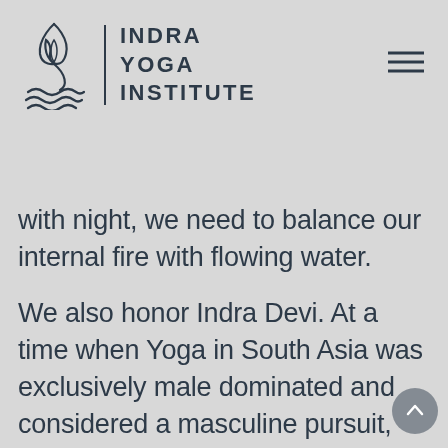and lightning as well as the fire of the home, and Indra reminds the earth that it truly balances itself
[Figure (logo): Indra Yoga Institute logo with flame and wave symbol]
with night, we need to balance our internal fire with flowing water.
We also honor Indra Devi. At a time when Yoga in South Asia was exclusively male dominated and considered a masculine pursuit, Indra Devi became a pioneer for Women in Western Yoga. Indra Devi developed a fascination for Yoga at age 15 after reading a book by Yogi Ramacharaka. She moved to India and would